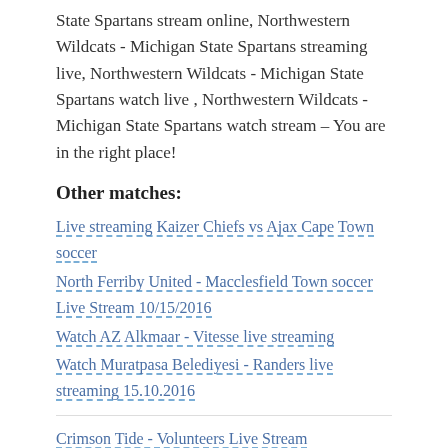State Spartans stream online, Northwestern Wildcats - Michigan State Spartans streaming live, Northwestern Wildcats - Michigan State Spartans watch live , Northwestern Wildcats - Michigan State Spartans watch stream – You are in the right place!
Other matches:
Live streaming Kaizer Chiefs vs Ajax Cape Town soccer
North Ferriby United - Macclesfield Town soccer Live Stream 10/15/2016
Watch AZ Alkmaar - Vitesse live streaming
Watch Muratpasa Belediyesi - Randers live streaming 15.10.2016
Crimson Tide - Volunteers Live Stream
Live streaming Ak Bars Kazan v Kunlun Red Star October 15, 2016
Watch Tarxien Rainbows vs Mosta FC Maltese Premier